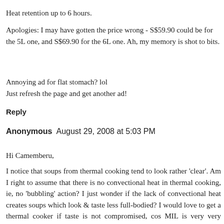Heat retention up to 6 hours.
Apologies: I may have gotten the price wrong - S$59.90 could be for the 5L one, and S$69.90 for the 6L one. Ah, my memory is shot to bits.
Annoying ad for flat stomach? lol
Just refresh the page and get another ad!
Reply
Anonymous  August 29, 2008 at 5:03 PM
Hi Camemberu,
I notice that soups from thermal cooking tend to look rather 'clear'. Am I right to assume that there is no convectional heat in thermal cooking, ie, no 'bubbling' action? I just wonder if the lack of convectional heat creates soups which look & taste less full-bodied? I would love to get a thermal cooker if taste is not compromised, cos MIL is very very particular about soups! Hence my very very high gas bills!